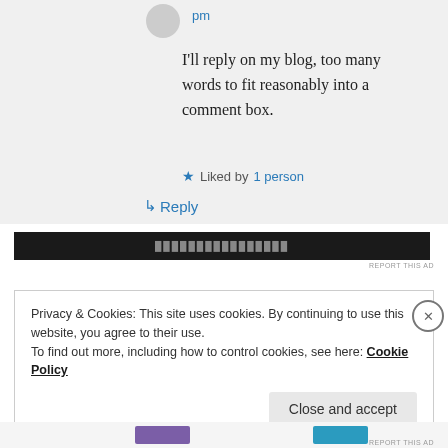pm
I'll reply on my blog, too many words to fit reasonably into a comment box.
★ Liked by 1 person
↳ Reply
[Figure (other): Black advertisement banner bar]
REPORT THIS AD
Privacy & Cookies: This site uses cookies. By continuing to use this website, you agree to their use.
To find out more, including how to control cookies, see here: Cookie Policy
Close and accept
[Figure (other): Bottom advertisement strip with purple and blue logos]